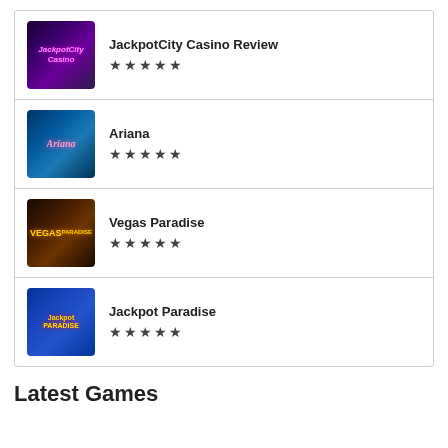JackpotCity Casino Review, 5 stars
Ariana, 5 stars
Vegas Paradise, 5 stars
Jackpot Paradise, 5 stars
Latest Games